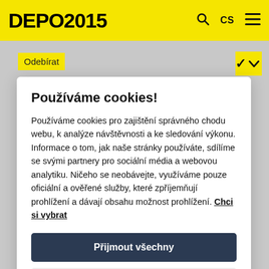DEPO2015
Odebírat
Používáme cookies!
Používáme cookies pro zajištění správného chodu webu, k analýze návštěvnosti a ke sledování výkonu. Informace o tom, jak naše stránky používáte, sdílíme se svými partnery pro sociální média a webovou analytiku. Ničeho se neobávejte, využíváme pouze oficiální a ověřené služby, které zpříjemňují prohlížení a dávají obsahu možnost prohlížení. Chci si vybrat
Přijmout všechny
Zamítnout všechny